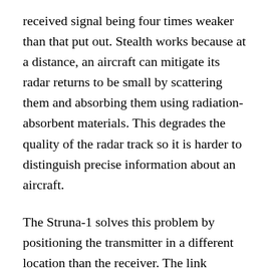received signal being four times weaker than that put out. Stealth works because at a distance, an aircraft can mitigate its radar returns to be small by scattering them and absorbing them using radiation-absorbent materials. This degrades the quality of the radar track so it is harder to distinguish precise information about an aircraft.
The Struna-1 solves this problem by positioning the transmitter in a different location than the receiver. The link between the transmitter and receiver has increased power relative to a conventional radar, as it falls off according to the inverse square law as opposed to the inverse fourth power law. This allows the radar to be